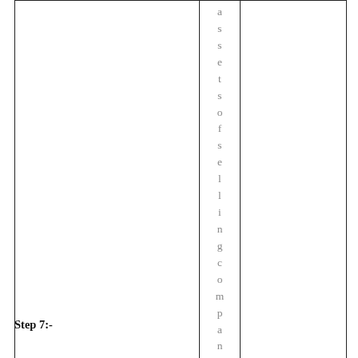|  | assets of selling company |  |
Step 7:-